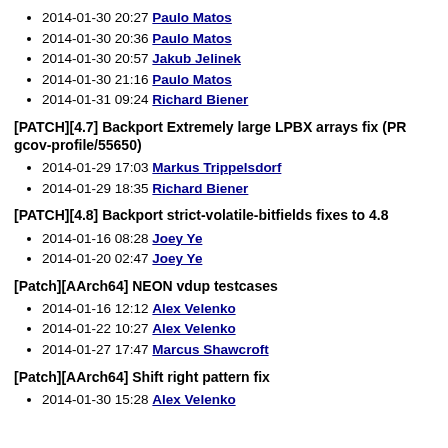2014-01-30 20:27 Paulo Matos
2014-01-30 20:36 Paulo Matos
2014-01-30 20:57 Jakub Jelinek
2014-01-30 21:16 Paulo Matos
2014-01-31 09:24 Richard Biener
[PATCH][4.7] Backport Extremely large LPBX arrays fix (PR gcov-profile/55650)
2014-01-29 17:03 Markus Trippelsdorf
2014-01-29 18:35 Richard Biener
[PATCH][4.8] Backport strict-volatile-bitfields fixes to 4.8
2014-01-16 08:28 Joey Ye
2014-01-20 02:47 Joey Ye
[Patch][AArch64] NEON vdup testcases
2014-01-16 12:12 Alex Velenko
2014-01-22 10:27 Alex Velenko
2014-01-27 17:47 Marcus Shawcroft
[Patch][AArch64] Shift right pattern fix
2014-01-30 15:28 Alex Velenko